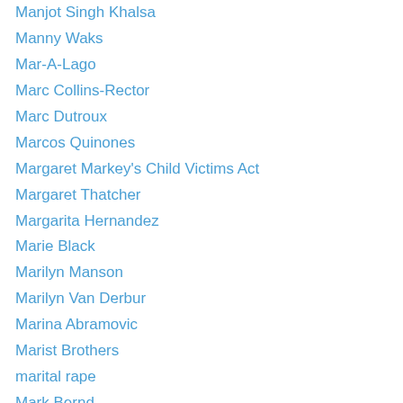Manjot Singh Khalsa
Manny Waks
Mar-A-Lago
Marc Collins-Rector
Marc Dutroux
Marcos Quinones
Margaret Markey's Child Victims Act
Margaret Thatcher
Margarita Hernandez
Marie Black
Marilyn Manson
Marilyn Van Derbur
Marina Abramovic
Marist Brothers
marital rape
Mark Bernd
Mark Berndt
Mark Judge
Mark Newton
Mark Pinkosh